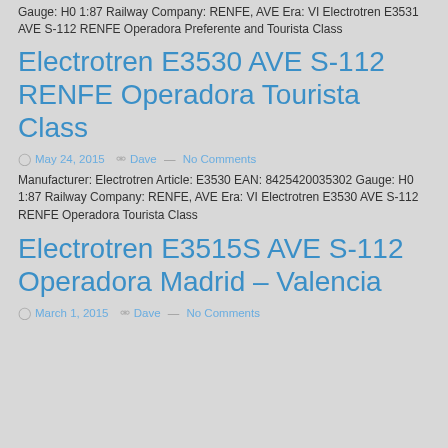Gauge: H0 1:87 Railway Company: RENFE, AVE Era: VI Electrotren E3531 AVE S-112 RENFE Operadora Preferente and Tourista Class
Electrotren E3530 AVE S-112 RENFE Operadora Tourista Class
May 24, 2015  Dave  — No Comments
Manufacturer: Electrotren Article: E3530 EAN: 8425420035302 Gauge: H0 1:87 Railway Company: RENFE, AVE Era: VI Electrotren E3530 AVE S-112 RENFE Operadora Tourista Class
Electrotren E3515S AVE S-112 Operadora Madrid – Valencia
March 1, 2015  Dave  — No Comments